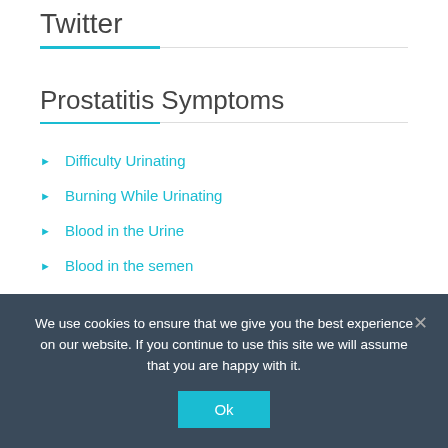Twitter
Prostatitis Symptoms
Difficulty Urinating
Burning While Urinating
Blood in the Urine
Blood in the semen
We use cookies to ensure that we give you the best experience on our website. If you continue to use this site we will assume that you are happy with it.